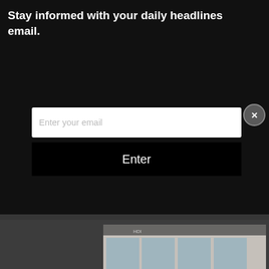Stay informed with your daily headlines email.
Enter your email
Enter
[Figure (photo): Building exterior photo (car dealership or commercial building) with glass facade and parking lot, with a 'LEARN MORE' pill button overlay]
[Figure (infographic): Free Concert Series promotional banner with text 'FREE CONCERT SERIES!' and 'AFTER HOURS NEW TOWN TUNES' circular logo on black background with a 'Details!' button]